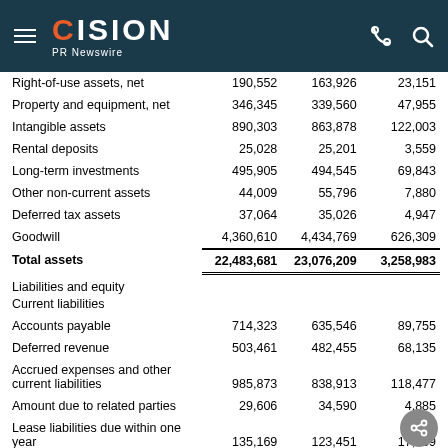CISION PR Newswire
|  |  |  |  |
| --- | --- | --- | --- |
| Right-of-use assets, net | 190,552 | 163,926 | 23,151 |
| Property and equipment, net | 346,345 | 339,560 | 47,955 |
| Intangible assets | 890,303 | 863,878 | 122,003 |
| Rental deposits | 25,028 | 25,201 | 3,559 |
| Long-term investments | 495,905 | 494,545 | 69,843 |
| Other non-current assets | 44,009 | 55,796 | 7,880 |
| Deferred tax assets | 37,064 | 35,026 | 4,947 |
| Goodwill | 4,360,610 | 4,434,769 | 626,309 |
| Total assets | 22,483,681 | 23,076,209 | 3,258,983 |
| Liabilities and equity |  |  |  |
| Current liabilities |  |  |  |
| Accounts payable | 714,323 | 635,546 | 89,755 |
| Deferred revenue | 503,461 | 482,455 | 68,135 |
| Accrued expenses and other current liabilities | 985,873 | 838,913 | 118,477 |
| Amount due to related parties | 29,606 | 34,590 | 4,885 |
| Lease liabilities due within one year | 135,169 | 123,451 | 17,469 |